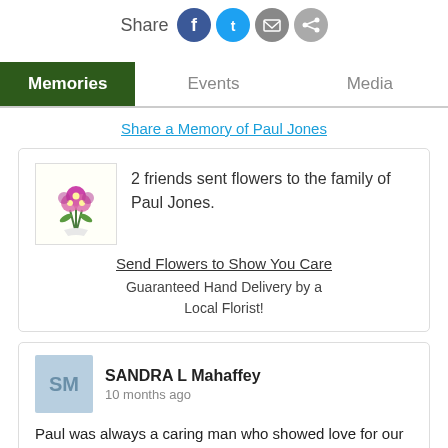Share [social icons: Facebook, Twitter, Email, Other]
Memories | Events | Media
Share a Memory of Paul Jones
[Figure (illustration): Bouquet of pink/purple flowers]
2 friends sent flowers to the family of Paul Jones.
Send Flowers to Show You Care
Guaranteed Hand Delivery by a Local Florist!
SANDRA L Mahaffey
10 months ago
Paul was always a caring man who showed love for our Lord and his family. Prayers have been said for Barbara